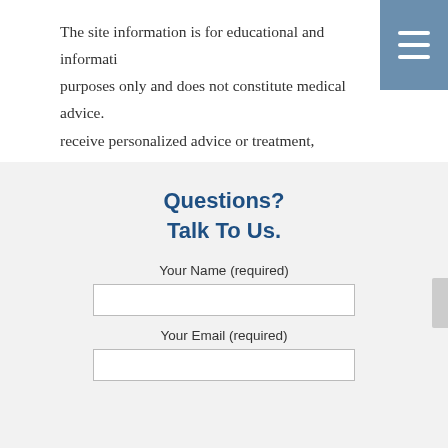The site information is for educational and informational purposes only and does not constitute medical advice. To receive personalized advice or treatment, schedule an appointment.
Questions? Talk To Us.
Your Name (required)
Your Email (required)